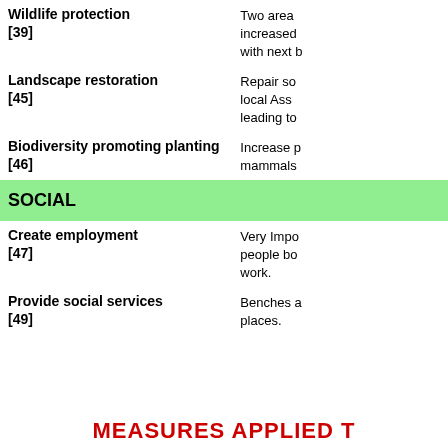Wildlife protection [39] | Two areas increased with next b
Landscape restoration [45] | Repair so local Ass leading to
Biodiversity promoting planting [46] | Increase p mammals
SOCIAL
Create employment [47] | Very Impo people bo work.
Provide social services [49] | Benches a places.
MEASURES APPLIED T